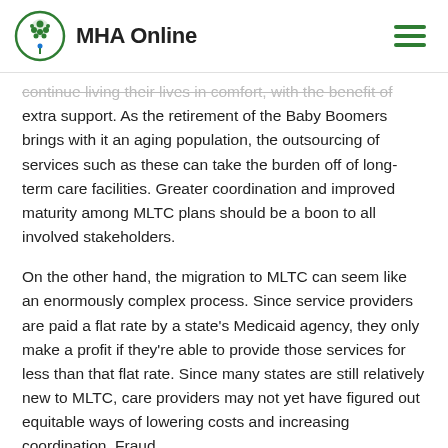MHA Online
continue living their lives in comfort, with the benefit of extra support. As the retirement of the Baby Boomers brings with it an aging population, the outsourcing of services such as these can take the burden off of long-term care facilities. Greater coordination and improved maturity among MLTC plans should be a boon to all involved stakeholders.
On the other hand, the migration to MLTC can seem like an enormously complex process. Since service providers are paid a flat rate by a state's Medicaid agency, they only make a profit if they're able to provide those services for less than that flat rate. Since many states are still relatively new to MLTC, care providers may not yet have figured out equitable ways of lowering costs and increasing coordination. Fraud